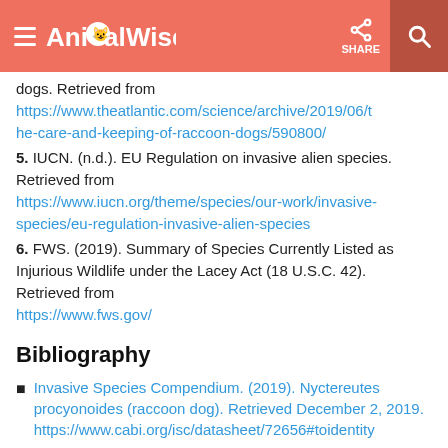AnimalWised
dogs. Retrieved from https://www.theatlantic.com/science/archive/2019/06/the-care-and-keeping-of-raccoon-dogs/590800/
5. IUCN. (n.d.). EU Regulation on invasive alien species. Retrieved from https://www.iucn.org/theme/species/our-work/invasive-species/eu-regulation-invasive-alien-species
6. FWS. (2019). Summary of Species Currently Listed as Injurious Wildlife under the Lacey Act (18 U.S.C. 42). Retrieved from https://www.fws.gov/
Bibliography
Invasive Species Compendium. (2019). Nyctereutes procyonoides (raccoon dog). Retrieved December 2, 2019. https://www.cabi.org/isc/datasheet/72656#toidentity
Kouba k. & Szabó M. (n.d.). Raccoon dog...